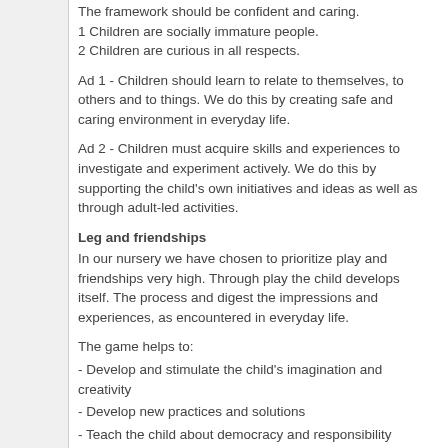The framework should be confident and caring.
1 Children are socially immature people.
2 Children are curious in all respects.
Ad 1 - Children should learn to relate to themselves, to others and to things. We do this by creating safe and caring environment in everyday life.
Ad 2 - Children must acquire skills and experiences to investigate and experiment actively. We do this by supporting the child's own initiatives and ideas as well as through adult-led activities.
Leg and friendships
In our nursery we have chosen to prioritize play and friendships very high. Through play the child develops itself. The process and digest the impressions and experiences, as encountered in everyday life.
The game helps to:
- Develop and stimulate the child's imagination and creativity
- Develop new practices and solutions
- Teach the child about democracy and responsibility
- Develop baby's motor skills
- Visibility emotions such as joy, anger, sadness, love, etc.
- Develop intellect and language, we reinforces the children's abilities and...